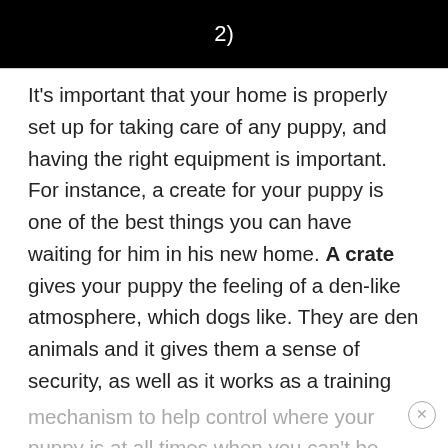[Figure (other): Black banner/header bar with white number '2)' centered]
It's important that your home is properly set up for taking care of any puppy, and having the right equipment is important. For instance, a create for your puppy is one of the best things you can have waiting for him in his new home. A crate gives your puppy the feeling of a den-like atmosphere, which dogs like. They are den animals and it gives them a sense of security, as well as it works as a training mechanism to help control where your puppy is at all times when you can't be